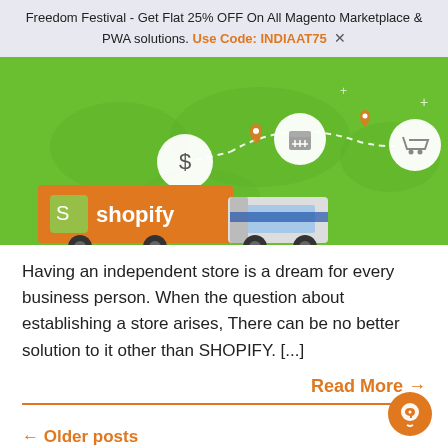Freedom Festival - Get Flat 25% OFF On All Magento Marketplace & PWA solutions. Use Code: INDIAAT75  ✕
[Figure (illustration): Shopify-branded illustration showing a delivery truck with a Shopify logo on an orange trailer, with a world map background in green and icons (dollar sign, calendar, shopping cart) connected by a dashed path.]
Having an independent store is a dream for every business person. When the question about establishing a store arises, There can be no better solution to it other than SHOPIFY. [...]
Read More →
← Older posts